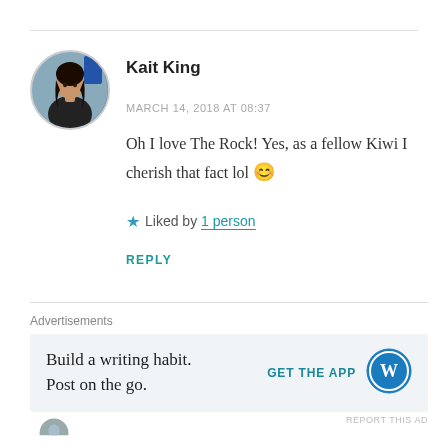[Figure (photo): Circular avatar photo of a woman with dark hair wearing a dark jacket, with a blue background element]
Kait King
MARCH 14, 2018 AT 08:37
Oh I love The Rock! Yes, as a fellow Kiwi I cherish that fact lol 😊
★ Liked by 1 person
REPLY
Advertisements
Build a writing habit. Post on the go.
GET THE APP
[Figure (logo): WordPress logo circle icon]
REPORT THIS AD
[Figure (photo): Partial circular avatar at bottom left]